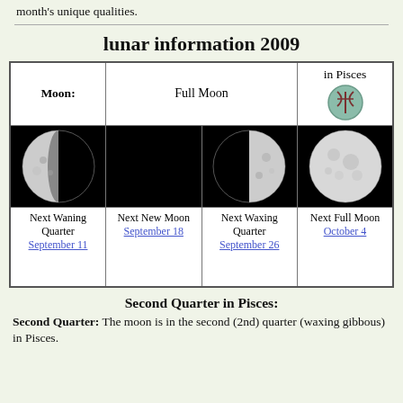month's unique qualities.
| Moon: | Full Moon | in Pisces |
| --- | --- | --- |
| [waning quarter moon image] | [new moon image] | [waxing quarter moon image] | [full moon image] |
| Next Waning Quarter September 11 | Next New Moon September 18 | Next Waxing Quarter September 26 | Next Full Moon October 4 |
Second Quarter in Pisces:
Second Quarter: The moon is in the second (2nd) quarter (waxing gibbous) in Pisces.